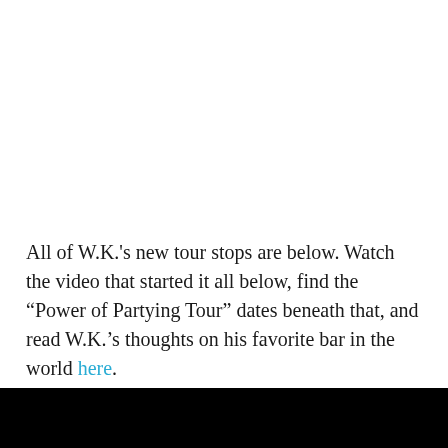All of W.K.'s new tour stops are below. Watch the video that started it all below, find the “Power of Partying Tour” dates beneath that, and read W.K.’s thoughts on his favorite bar in the world here.
[Figure (other): Black rectangle representing a video embed or media player at the bottom of the page]